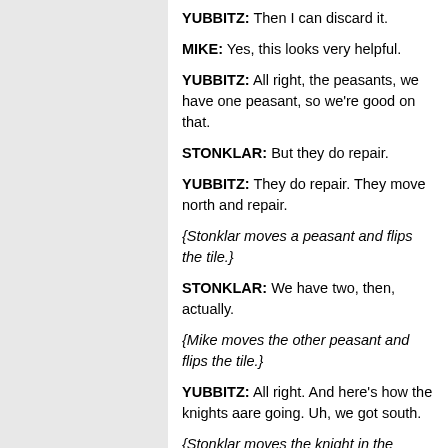YUBBITZ: Then I can discard it.
MIKE: Yes, this looks very helpful.
YUBBITZ: All right, the peasants, we have one peasant, so we're good on that.
STONKLAR: But they do repair.
YUBBITZ: They do repair. They move north and repair.
{Stonklar moves a peasant and flips the tile.}
STONKLAR: We have two, then, actually.
{Mike moves the other peasant and flips the tile.}
YUBBITZ: All right. And here's how the knights aare going. Uh, we got south.
{Stonklar moves the knight in the corresponding direction.}
YUBBITZ: South. West. West. South.